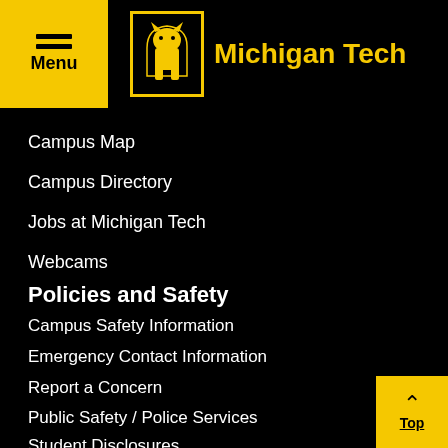Michigan Tech
Campus Map
Campus Directory
Jobs at Michigan Tech
Webcams
Policies and Safety
Campus Safety Information
Emergency Contact Information
Report a Concern
Public Safety / Police Services
Student Disclosures
Title IX